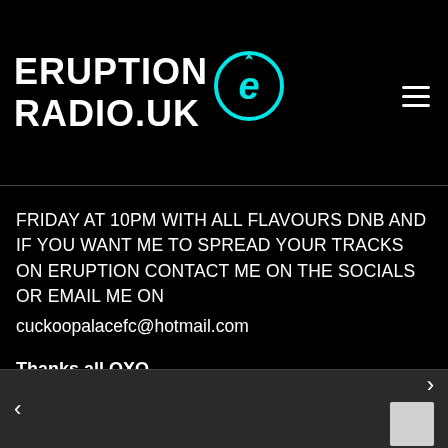[Figure (logo): Eruption Radio UK logo — white bold text 'ERUPTION RADIO.UK' with a cyan circular 'e' icon]
FRIDAY AT 10PM WITH ALL FLAVOURS DNB AND IF YOU WANT ME TO SPREAD YOUR TRACKS ON ERUPTION CONTACT ME ON THE SOCIALS OR EMAIL ME ON cuckoopalacefc@hotmail.com

Thanks all OXO
< >